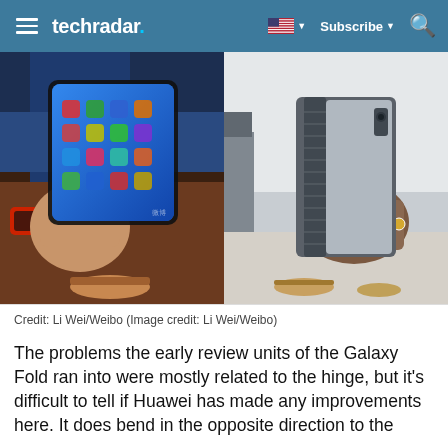techradar | Subscribe | Search
[Figure (photo): Two side-by-side photos: left shows a person holding an open foldable phone (Huawei Mate X) with a bright display showing app icons, wearing a red watch; right shows the same device folded closed, held in a hand, showing its hinge mechanism.]
Credit: Li Wei/Weibo (Image credit: Li Wei/Weibo)
The problems the early review units of the Galaxy Fold ran into were mostly related to the hinge, but it’s difficult to tell if Huawei has made any improvements here. It does bend in the opposite direction to the